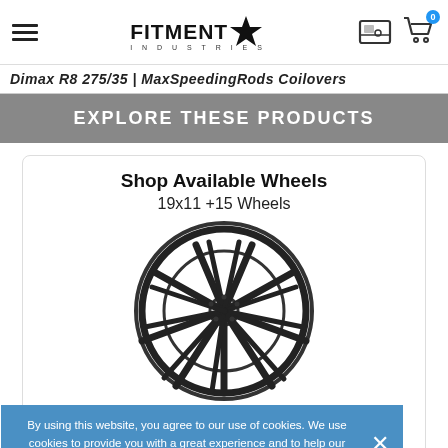Fitment Industries - navigation header with hamburger menu, logo, image gallery icon, and cart icon (0 items)
Dimax R8 275/35 | MaxSpeedingRods Coilovers
EXPLORE THESE PRODUCTS
Shop Available Wheels
19x11 +15 Wheels
[Figure (illustration): Illustration of a multi-spoke car wheel/rim in black and white]
By using this website, you agree to our use of cookies. We use cookies to provide you with a great experience and to help our website run effectively. Learn more
Shop Available Tires
Size: 275x35R19